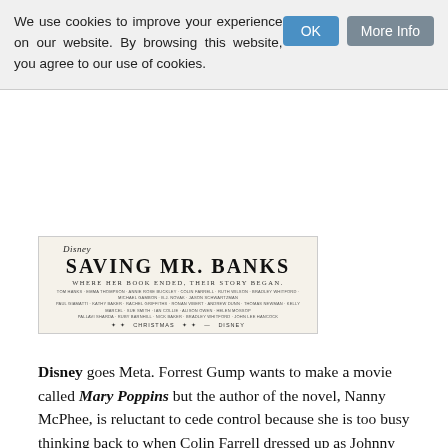We use cookies to improve your experience on our website. By browsing this website, you agree to our use of cookies.
[Figure (photo): Saving Mr. Banks Disney movie poster showing title 'SAVING MR. BANKS' with tagline 'WHERE HER BOOK ENDED, THEIR STORY BEGAN.' and film credits, releasing at Christmas.]
Disney goes Meta. Forrest Gump wants to make a movie called Mary Poppins but the author of the novel, Nanny McPhee, is reluctant to cede control because she is too busy thinking back to when Colin Farrell dressed up as Johnny Depp from Finding Neverland but in Australia.
Emma Thompson is wonderful as a female version of Jack Nicholson in As Good As It Gets, the kind of ornery curmudgeon who we love watching being